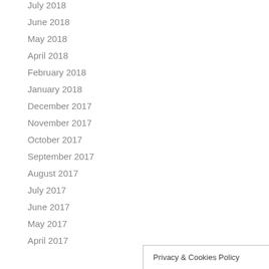July 2018
June 2018
May 2018
April 2018
February 2018
January 2018
December 2017
November 2017
October 2017
September 2017
August 2017
July 2017
June 2017
May 2017
April 2017
Privacy & Cookies Policy